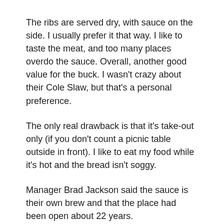The ribs are served dry, with sauce on the side. I usually prefer it that way. I like to taste the meat, and too many places overdo the sauce. Overall, another good value for the buck. I wasn't crazy about their Cole Slaw, but that's a personal preference.
The only real drawback is that it's take-out only (if you don't count a picnic table outside in front). I like to eat my food while it's hot and the bread isn't soggy.
Manager Brad Jackson said the sauce is their own brew and that the place had been open about 22 years.
I won't wait another 22 years to eat there. After all, Wibs is closed on Sundays and Mondays.